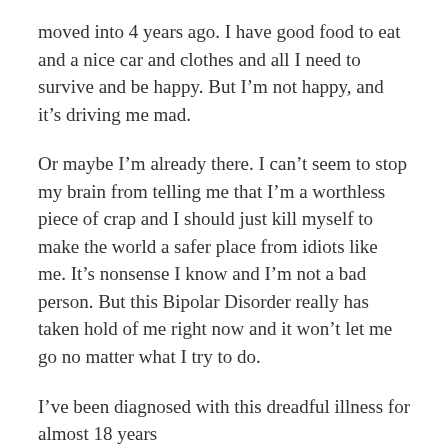moved into 4 years ago. I have good food to eat and a nice car and clothes and all I need to survive and be happy. But I’m not happy, and it’s driving me mad.
Or maybe I’m already there. I can’t seem to stop my brain from telling me that I’m a worthless piece of crap and I should just kill myself to make the world a safer place from idiots like me. It’s nonsense I know and I’m not a bad person. But this Bipolar Disorder really has taken hold of me right now and it won’t let me go no matter what I try to do.
I’ve been diagnosed with this dreadful illness for almost 18 years